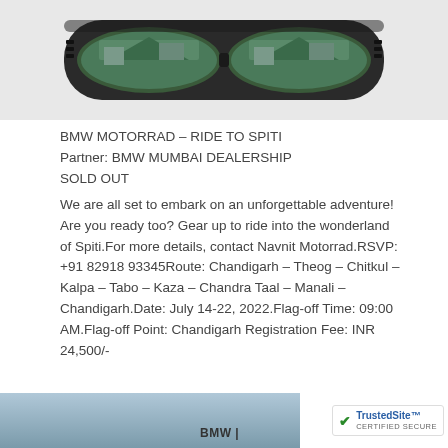[Figure (photo): Close-up of motorcycle goggles/riding glasses with dark lenses reflecting a mountain landscape, on a light gray background]
BMW MOTORRAD – RIDE TO SPITI
Partner: BMW MUMBAI DEALERSHIP
SOLD OUT
We are all set to embark on an unforgettable adventure! Are you ready too? Gear up to ride into the wonderland of Spiti.For more details, contact Navnit Motorrad.RSVP: +91 82918 93345Route: Chandigarh – Theog – Chitkul – Kalpa – Tabo – Kaza – Chandra Taal – Manali – Chandigarh.Date: July 14-22, 2022.Flag-off Time: 09:00 AM.Flag-off Point: Chandigarh Registration Fee: INR 24,500/-
[Figure (photo): Partial bottom strip showing a blue-toned mountain/landscape image with BMW text label visible at bottom of page]